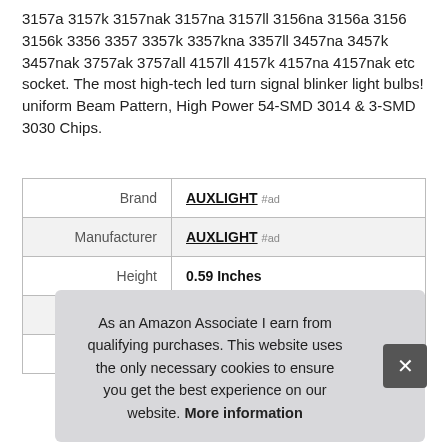3157a 3157k 3157nak 3157na 3157ll 3156na 3156a 3156 3156k 3356 3357 3357k 3357kna 3357ll 3457na 3457k 3457nak 3757ak 3757all 4157ll 4157k 4157na 4157nak etc socket. The most high-tech led turn signal blinker light bulbs! uniform Beam Pattern, High Power 54-SMD 3014 & 3-SMD 3030 Chips.
|  |  |
| --- | --- |
| Brand | AUXLIGHT #ad |
| Manufacturer | AUXLIGHT #ad |
| Height | 0.59 Inches |
| Length | 1.82 Inches |
| P |  |
As an Amazon Associate I earn from qualifying purchases. This website uses the only necessary cookies to ensure you get the best experience on our website. More information